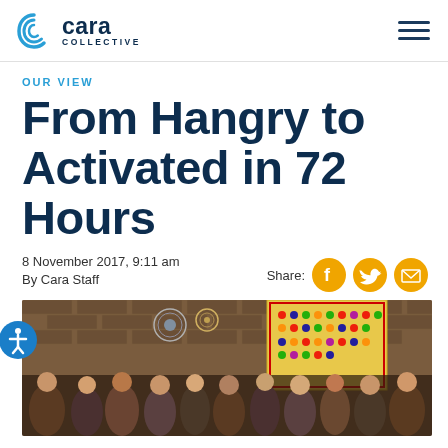Cara Collective
OUR VIEW
From Hangry to Activated in 72 Hours
8 November 2017, 9:11 am
By Cara Staff
Share:
[Figure (photo): Group photo of approximately 25-30 people standing together in front of a brick wall decorated with colorful mosaic art and decorative plates.]